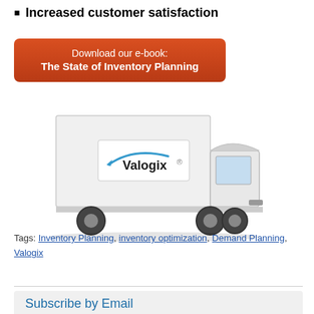Increased customer satisfaction
[Figure (other): Orange/red button graphic: 'Download our e-book: The State of Inventory Planning']
[Figure (photo): White delivery truck with Valogix logo on the side panel]
Tags: Inventory Planning, inventory optimization, Demand Planning, Valogix
Subscribe by Email